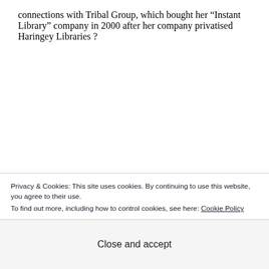connections with Tribal Group, which bought her “Instant Library” company in 2000 after her company privatised Haringey Libraries ?
“Tribal Group, the public sector outsourcing company, announces the acquisition of Instant Library, the leading UK outsourced managed library services company........ Tribal intends to expand Instant Library’s
Privacy & Cookies: This site uses cookies. By continuing to use this website, you agree to their use.
To find out more, including how to control cookies, see here: Cookie Policy
Close and accept
we are going to develop Instant Library’s